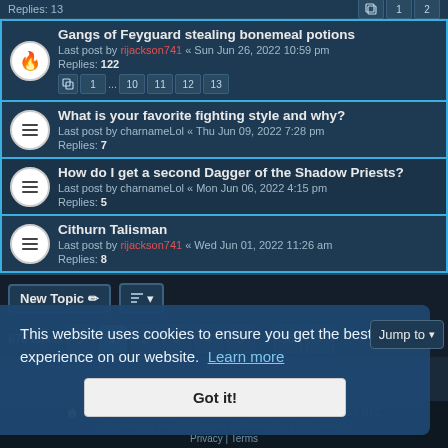Replies: 13 (partial row at top)
Gangs of Feyguard stealing bonemeal potions
Last post by rijackson741 « Sun Jun 26, 2022 10:59 pm
Replies: 122
pages: 1 ... 10 11 12 13
What is your favorite fighting style and why?
Last post by charnameLol « Thu Jun 09, 2022 7:28 pm
Replies: 7
How do I get a second Dagger of the Shadow Priests?
Last post by charnameLol « Mon Jun 06, 2022 4:15 pm
Replies: 5
Cithurn Talisman
Last post by rijackson741 « Wed Jun 01, 2022 11:26 am
Replies: 8
New Topic | Sort | 876 topics | 1 2 3 4 5 ... 36 >
This website uses cookies to ensure you get the best experience on our website. Learn more
Got it!
Jump to
Board Index | Contact us | Delete cookies. All times are UTC
Powered by phpBB • Forum Software © phpBB Limited
Privacy | Terms